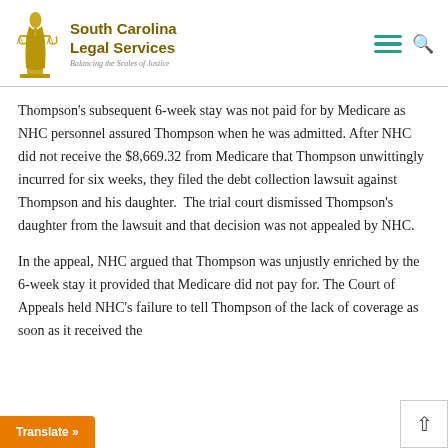South Carolina Legal Services — Balancing the Scales of Justice
Thompson's subsequent 6-week stay was not paid for by Medicare as NHC personnel assured Thompson when he was admitted. After NHC did not receive the $8,669.32 from Medicare that Thompson unwittingly incurred for six weeks, they filed the debt collection lawsuit against Thompson and his daughter.  The trial court dismissed Thompson's daughter from the lawsuit and that decision was not appealed by NHC.
In the appeal, NHC argued that Thompson was unjustly enriched by the 6-week stay it provided that Medicare did not pay for. The Court of Appeals held NHC's failure to tell Thompson of the lack of coverage as soon as it received the